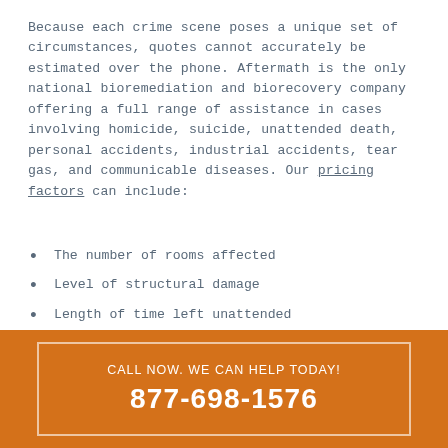Because each crime scene poses a unique set of circumstances, quotes cannot accurately be estimated over the phone. Aftermath is the only national bioremediation and biorecovery company offering a full range of assistance in cases involving homicide, suicide, unattended death, personal accidents, industrial accidents, tear gas, and communicable diseases. Our pricing factors can include:
The number of rooms affected
Level of structural damage
Length of time left unattended
Additional complications such as hoarding, machinery, or large amounts of personal property
CALL NOW. WE CAN HELP TODAY! 877-698-1576